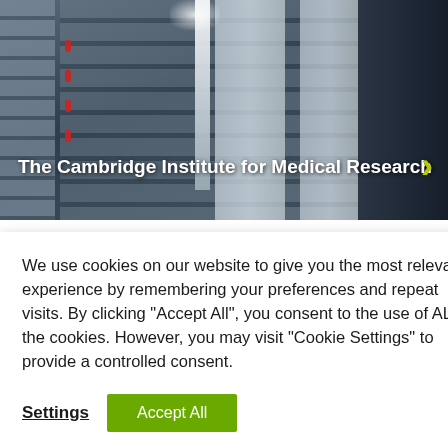[Figure (photo): Interior photograph of a medical research laboratory facility showing equipment shelving units with supplies, lighting overhead, and white storage panels]
The Cambridge Institute for Medical Research
We use cookies on our website to give you the most relevant experience by remembering your preferences and repeat visits. By clicking "Accept All", you consent to the use of ALL the cookies. However, you may visit "Cookie Settings" to provide a controlled consent.
Settings
Accept All
now
mber o
team or to arrange a free site survey